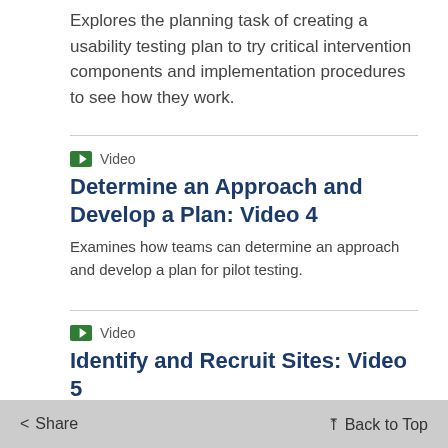Explores the planning task of creating a usability testing plan to try critical intervention components and implementation procedures to see how they work.
Video
Determine an Approach and Develop a Plan: Video 4
Examines how teams can determine an approach and develop a plan for pilot testing.
Video
Identify and Recruit Sites: Video 5
how teams plan and develop to identify and recruit pilot testing sites.
Share   Back to Top